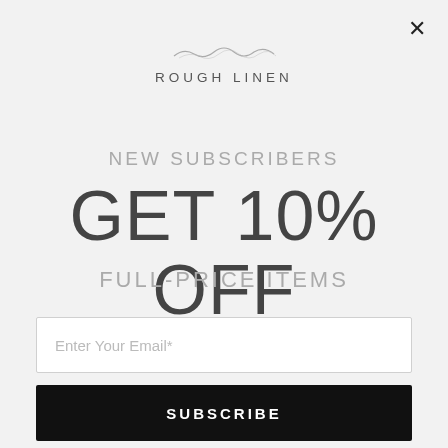[Figure (logo): Rough Linen brand logo with decorative horizontal line graphic above the text]
NEW SUBSCRIBERS
GET 10% OFF
FULL-PRICE ITEMS
Enter Your Email*
SUBSCRIBE
By entering your email, you agree to our Privacy Policy, including receipt of emails and promotions. You can unsubscribe at any time.